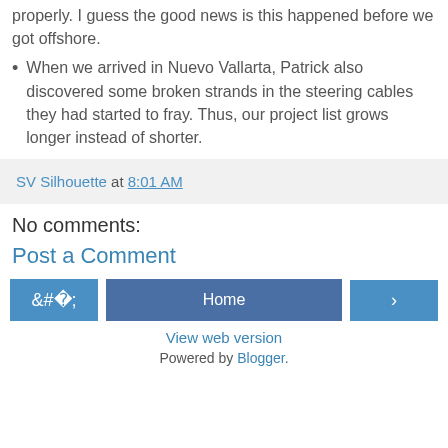...properly. I guess the good news is this happened before we got offshore.
When we arrived in Nuevo Vallarta, Patrick also discovered some broken strands in the steering cables  they had started to fray. Thus, our project list grows longer instead of shorter.
SV Silhouette at 8:01 AM
No comments:
Post a Comment
Home
View web version
Powered by Blogger.